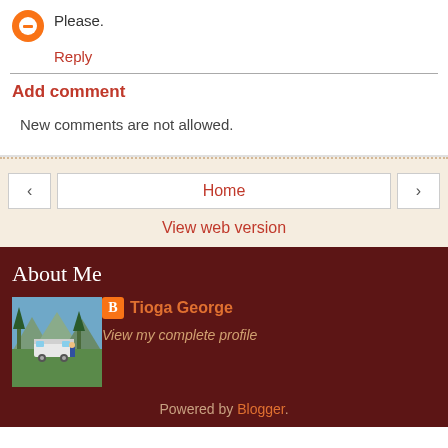Please.
Reply
Add comment
New comments are not allowed.
Home
View web version
About Me
[Figure (photo): Profile photo showing an RV/motorhome parked in a mountain meadow with trees and mountains in the background, person standing nearby]
Tioga George
View my complete profile
Powered by Blogger.